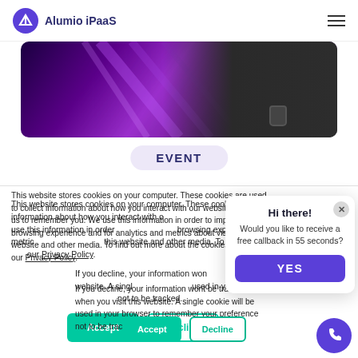Alumio iPaaS
[Figure (photo): Hero banner image showing a person in dark clothing holding a mug, with a purple geometric background]
EVENT
This website stores cookies on your computer. These cookies are used to collect information about how you interact with our website and allow us to remember you. We use this information in order to improve and customize your browsing experience and for analytics and metrics about our visitors both on this website and other media. To find out more about the cookies we use, see our Privacy Policy.
If you decline, your information won't be tracked when you visit this website. A single cookie will be used in your browser to remember your preference not to be tracked.
[Figure (infographic): Chat popup widget saying Hi there! Would you like to receive a free callback in 55 seconds? with a YES button]
[Figure (infographic): Purple circular phone callback button]